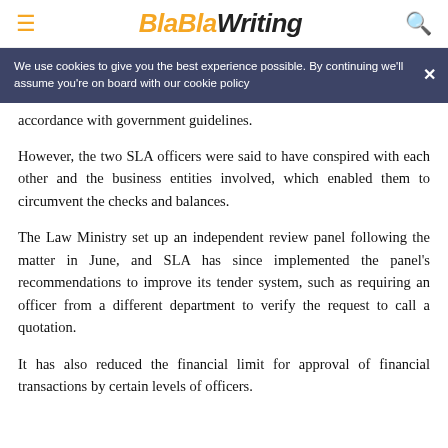BlaBlaWriting
We use cookies to give you the best experience possible. By continuing we'll assume you're on board with our cookie policy
accordance with government guidelines.
However, the two SLA officers were said to have conspired with each other and the business entities involved, which enabled them to circumvent the checks and balances.
The Law Ministry set up an independent review panel following the matter in June, and SLA has since implemented the panel's recommendations to improve its tender system, such as requiring an officer from a different department to verify the request to call a quotation.
It has also reduced the financial limit for approval of financial transactions by certain levels of officers.